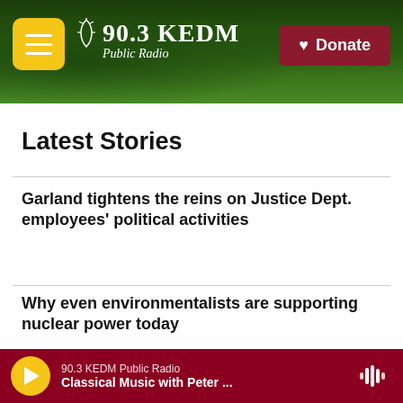90.3 KEDM Public Radio — Donate
Latest Stories
Garland tightens the reins on Justice Dept. employees' political activities
Why even environmentalists are supporting nuclear power today
No, that wasn't Beyoncé at the U.S. Open. It was Laverne Cox, and she's flattered
90.3 KEDM Public Radio — Classical Music with Peter ...